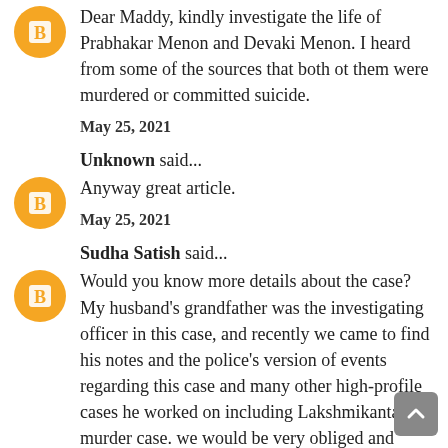Dear Maddy, kindly investigate the life of Prabhakar Menon and Devaki Menon. I heard from some of the sources that both ot them were murdered or committed suicide.
May 25, 2021
Unknown said...
Anyway great article.
May 25, 2021
Sudha Satish said...
Would you know more details about the case? My husband's grandfather was the investigating officer in this case, and recently we came to find his notes and the police's version of events regarding this case and many other high-profile cases he worked on including Lakshmikantan murder case. we would be very obliged and grateful to have more information as